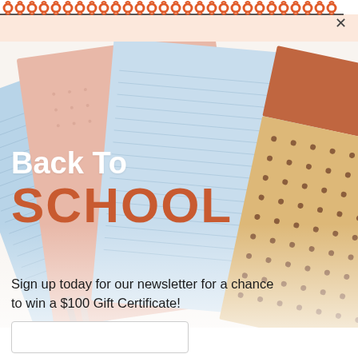[Figure (illustration): Back to school advertisement popup with spiral-bound notebook aesthetic at top, colorful notebooks/notepads fanned out in pastel colors (light blue, peach/pink, tan with dots, terracotta), white background]
Back To SCHOOL
Sign up today for our newsletter for a chance to win a $100 Gift Certificate!